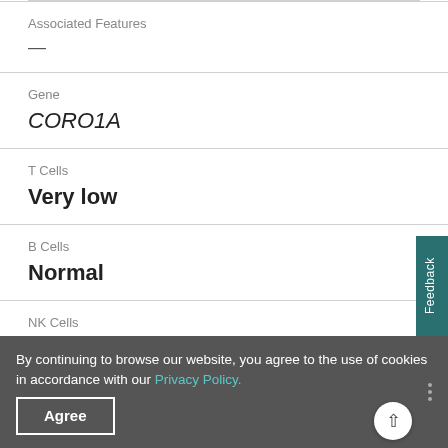Associated Features
—
Gene
CORO1A
T Cells
Very low
B Cells
Normal
NK Cells
n/a
By continuing to browse our website, you agree to the use of cookies in accordance with our Privacy Policy.
Agree